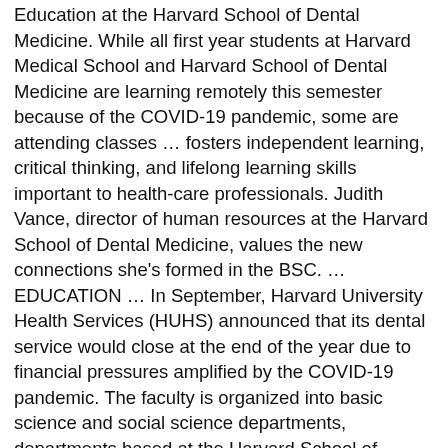Education at the Harvard School of Dental Medicine. While all first year students at Harvard Medical School and Harvard School of Dental Medicine are learning remotely this semester because of the COVID-19 pandemic, some are attending classes … fosters independent learning, critical thinking, and lifelong learning skills important to health-care professionals. Judith Vance, director of human resources at the Harvard School of Dental Medicine, values the new connections she's formed in the BSC. … EDUCATION … In September, Harvard University Health Services (HUHS) announced that its dental service would close at the end of the year due to financial pressures amplified by the COVID-19 pandemic. The faculty is organized into basic science and social science departments, departments based at the Harvard School of Dental Medicine and clinical departments at affiliated hospitals. School of Dental Medicine takes over HUHS' Dental Service December 9, 2020 The Harvard School of Dental Medicine announced today that it will reopen the former Harvard University Health Services dental clinic with expanded services in February 2021. In keeping with the school's